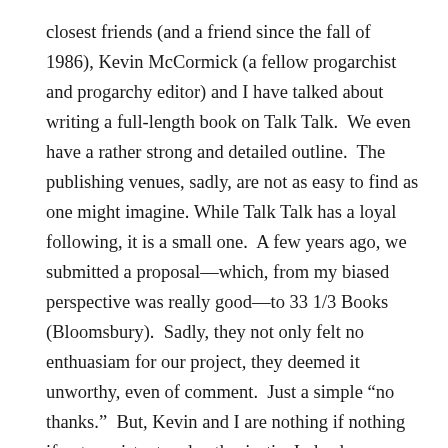closest friends (and a friend since the fall of 1986), Kevin McCormick (a fellow progarchist and progarchy editor) and I have talked about writing a full-length book on Talk Talk.  We even have a rather strong and detailed outline.  The publishing venues, sadly, are not as easy to find as one might imagine. While Talk Talk has a loyal following, it is a small one.  A few years ago, we submitted a proposal—which, from my biased perspective was really good—to 33 1/3 Books (Bloomsbury).  Sadly, they not only felt no enthuasiam for our project, they deemed it unworthy, even of comment.  Just a simple “no thanks.”  But, Kevin and I are nothing if nothing if not persistent and enthusiastic.  Indeed, some might even say “obnoxious!”